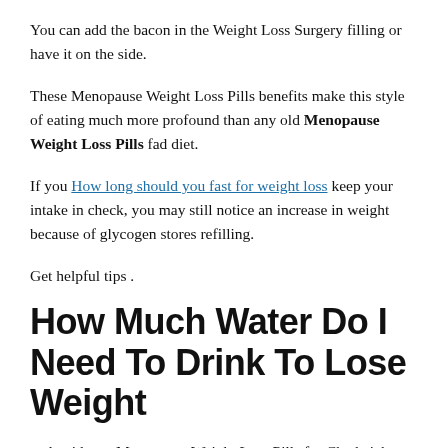You can add the bacon in the Weight Loss Surgery filling or have it on the side.
These Menopause Weight Loss Pills benefits make this style of eating much more profound than any old Menopause Weight Loss Pills fad diet.
If you How long should you fast for weight loss keep your intake in check, you may still notice an increase in weight because of glycogen stores refilling.
Get helpful tips .
How Much Water Do I Need To Drink To Lose Weight
and guidance Menopause Weight Loss Pills for Chadwick